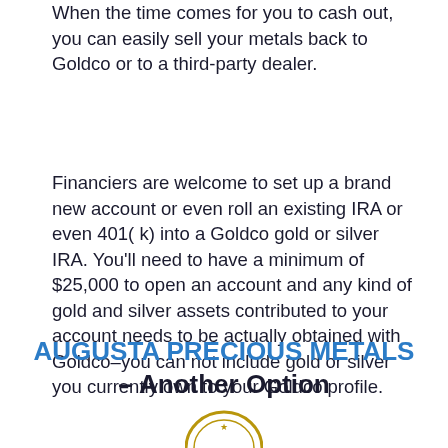When the time comes for you to cash out, you can easily sell your metals back to Goldco or to a third-party dealer.
Financiers are welcome to set up a brand new account or even roll an existing IRA or even 401( k) into a Goldco gold or silver IRA. You'll need to have a minimum of $25,000 to open an account and any kind of gold and silver assets contributed to your account needs to be actually obtained with Goldco–you can not include gold or silver you currently own to your Goldco profile.
AUGUSTA PRECIOUS METALS – Another Option
[Figure (logo): Circular logo/seal partially visible at bottom of page]